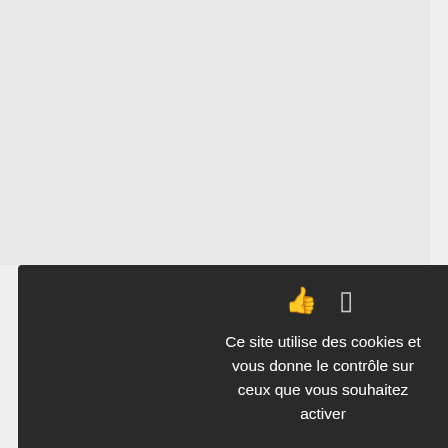small community by the shores of Jaffa either. You can only get there b that ply the Lake, so I bought a tick assiduous avoidance, fell soundly as bone weary, and so I just stretched waking me to look at the stars; the portending some extraordinary occur

Even in slumber, I could feel the wa s if to creak apart, and around me —unable to control their retching, sw unning to the one small toilet at the leeps that leave a person loggish ar

Half awake, I heard voices actually elief that when a ship goes down, White dress uniform, but no, instead, n god, or God, or God, or GOD, Catholic, in the innumerable langua Winnipeg. It went from bad to wors acks of Canada Post mail, boxes of aking to Tarshish for the oil-rigs. onfusion, but not quite sure it was vearing greasy khaki, not white duck now his type, they blame every mi lear, have done everything they can
[Figure (screenshot): Cookie consent modal dialog with dark background. Contains icons (thumbs up, rectangle), French text explaining cookie usage, a green 'Tout accepter' button, a red 'Tout refuser' button, a white 'Personnaliser' button, and a 'Politique de confidentialité' link.]